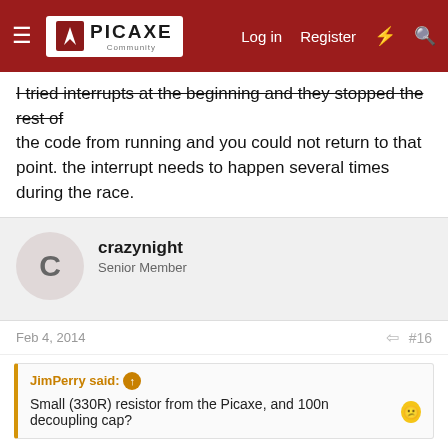PICAXE Community — Log in | Register
I tried interrupts at the beginning and they stopped the rest of the code from running and you could not return to that point. the interrupt needs to happen several times during the race.
crazynight
Senior Member
Feb 4, 2014	#16
JimPerry said: ↑
Small (330R) resistor from the Picaxe, and 100n decoupling cap? 😕
So where would they go?
oracacle
Senior Member